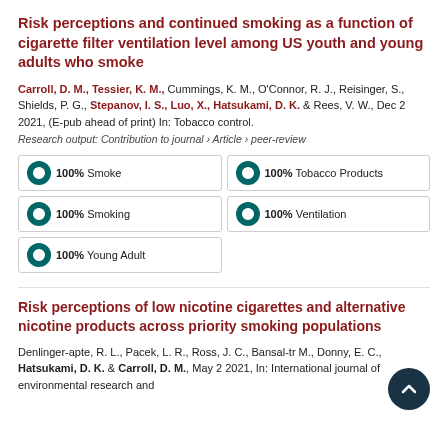Risk perceptions and continued smoking as a function of cigarette filter ventilation level among US youth and young adults who smoke
Carroll, D. M., Tessier, K. M., Cummings, K. M., O'Connor, R. J., Reisinger, S., Shields, P. G., Stepanov, I. S., Luo, X., Hatsukami, D. K. & Rees, V. W., Dec 2 2021, (E-pub ahead of print) In: Tobacco control.
Research output: Contribution to journal › Article › peer-review
Smoke 100%
Tobacco Products 100%
Smoking 100%
Ventilation 100%
Young Adult 100%
Risk perceptions of low nicotine cigarettes and alternative nicotine products across priority smoking populations
Denlinger-apte, R. L., Pacek, L. R., Ross, J. C., Bansal-tr M., Donny, E. C., Hatsukami, D. K. & Carroll, D. M., May 2 2021, In: International journal of environmental research and